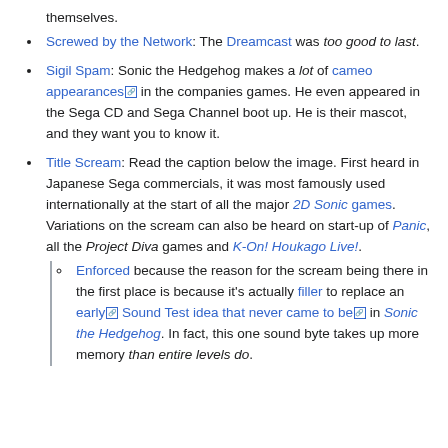themselves.
Screwed by the Network: The Dreamcast was too good to last.
Sigil Spam: Sonic the Hedgehog makes a lot of cameo appearances [icon] in the companies games. He even appeared in the Sega CD and Sega Channel boot up. He is their mascot, and they want you to know it.
Title Scream: Read the caption below the image. First heard in Japanese Sega commercials, it was most famously used internationally at the start of all the major 2D Sonic games. Variations on the scream can also be heard on start-up of Panic, all the Project Diva games and K-On! Houkago Live!.
Enforced because the reason for the scream being there in the first place is because it's actually filler to replace an early [icon] Sound Test idea that never came to be [icon] in Sonic the Hedgehog. In fact, this one sound byte takes up more memory than entire levels do.